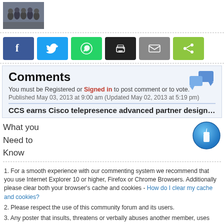[Figure (photo): Small thumbnail photo of a group of people]
[Figure (infographic): Social sharing buttons: Facebook, Twitter, WhatsApp, Print, Email, Share]
Comments
You must be Registered or Signed in to post comment or to vote.
Published May 03, 2013 at 9:00 am (Updated May 02, 2013 at 5:19 pm)
CCS earns Cisco telepresence advanced partner designati
What you Need to Know
[Figure (illustration): Blue circular information icon with letter i]
1. For a smooth experience with our commenting system we recommend that you use Internet Explorer 10 or higher, Firefox or Chrome Browsers. Additionally please clear both your browser's cache and cookies - How do I clear my cache and cookies?
2. Please respect the use of this community forum and its users.
3. Any poster that insults, threatens or verbally abuses another member, uses defamatory language, or deliberately disrupts discussions will be banned.
4. Users who violate the Terms of Service or any commenting rules will be banned.
5. Please stay on topic. "Trolling" to incite emotional responses and disrupt conversations will be deleted.